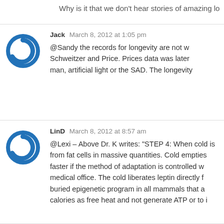Why is it that we don’t hear stories of amazing lo
Jack  March 8, 2012 at 1:05 pm
@Sandy the records for longevity are not w… Schweitzer and Price. Prices data was later… man, artificial light or the SAD. The longevity…
LinD  March 8, 2012 at 8:57 am
@Lexi – Above Dr. K writes: “STEP 4: When cold is… from fat cells in massive quantities. Cold empties… faster if the method of adaptation is controlled w… medical office. The cold liberates leptin directly f… buried epigenetic program in all mammals that a… calories as free heat and not generate ATP or to i…